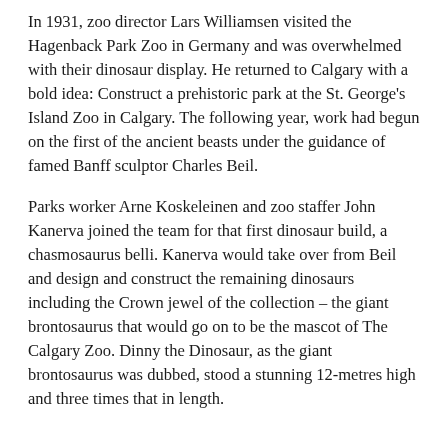In 1931, zoo director Lars Williamsen visited the Hagenback Park Zoo in Germany and was overwhelmed with their dinosaur display. He returned to Calgary with a bold idea: Construct a prehistoric park at the St. George's Island Zoo in Calgary. The following year, work had begun on the first of the ancient beasts under the guidance of famed Banff sculptor Charles Beil.
Parks worker Arne Koskeleinen and zoo staffer John Kanerva joined the team for that first dinosaur build, a chasmosaurus belli. Kanerva would take over from Beil and design and construct the remaining dinosaurs including the Crown jewel of the collection – the giant brontosaurus that would go on to be the mascot of The Calgary Zoo. Dinny the Dinosaur, as the giant brontosaurus was dubbed, stood a stunning 12-metres high and three times that in length.